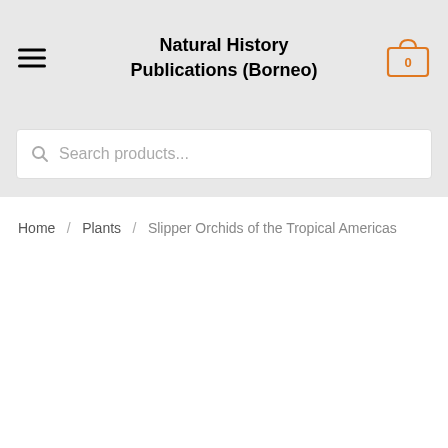Natural History Publications (Borneo)
Search products...
Home / Plants / Slipper Orchids of the Tropical Americas